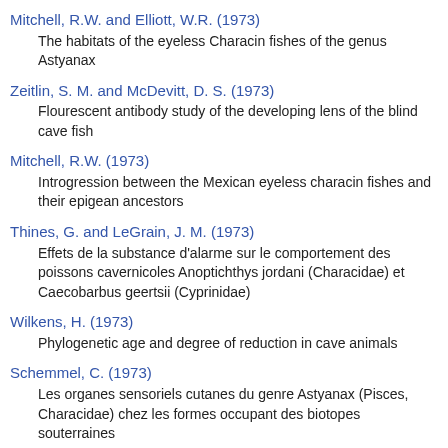Mitchell, R.W. and Elliott, W.R. (1973)
The habitats of the eyeless Characin fishes of the genus Astyanax
Zeitlin, S. M. and McDevitt, D. S. (1973)
Flourescent antibody study of the developing lens of the blind cave fish
Mitchell, R.W. (1973)
Introgression between the Mexican eyeless characin fishes and their epigean ancestors
Thines, G. and LeGrain, J. M. (1973)
Effets de la substance d'alarme sur le comportement des poissons cavernicoles Anoptichthys jordani (Characidae) et Caecobarbus geertsii (Cyprinidae)
Wilkens, H. (1973)
Phylogenetic age and degree of reduction in cave animals
Schemmel, C. (1973)
Les organes sensoriels cutanes du genre Astyanax (Pisces, Characidae) chez les formes occupant des biotopes souterraines
Wilkens, H. (1973)
Anciennete phylogenetique et degres de reduction chez les animaux cavernicoles